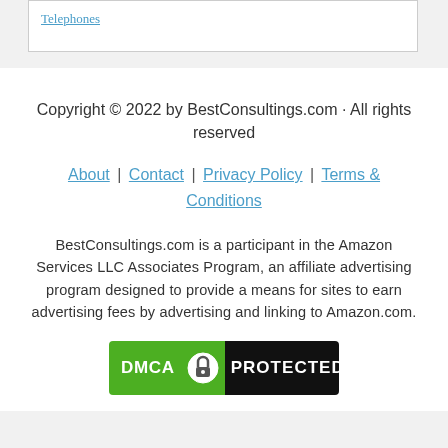Telephones
Copyright © 2022 by BestConsultings.com · All rights reserved
About | Contact | Privacy Policy | Terms & Conditions
BestConsultings.com is a participant in the Amazon Services LLC Associates Program, an affiliate advertising program designed to provide a means for sites to earn advertising fees by advertising and linking to Amazon.com.
[Figure (logo): DMCA PROTECTED badge with green and black background]